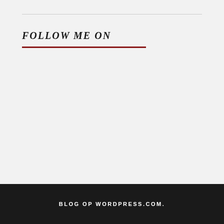FOLLOW ME ON
[Figure (logo): NetGalley Member Professional Reader circular badge with green swoosh logo]
BLOG OP WORDPRESS.COM.